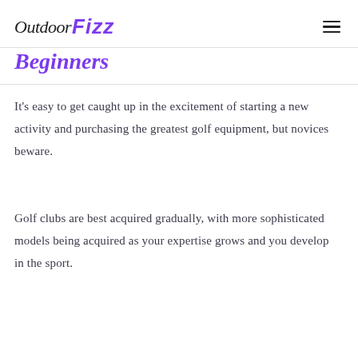OutdoorFizz
Beginners
It’s easy to get caught up in the excitement of starting a new activity and purchasing the greatest golf equipment, but novices beware.
Golf clubs are best acquired gradually, with more sophisticated models being acquired as your expertise grows and you develop in the sport.